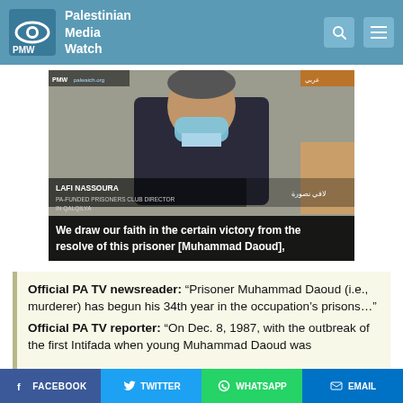Palestinian Media Watch
[Figure (screenshot): Video screenshot of LAFI NASSOURA, PA-FUNDED PRISONERS CLUB DIRECTOR IN QALQILYA, wearing a blue face mask. Caption reads: 'We draw our faith in the certain victory from the resolve of this prisoner [Muhammad Daoud],']
Official PA TV newsreader: “Prisoner Muhammad Daoud (i.e., murderer) has begun his 34th year in the occupation’s prisons…” Official PA TV reporter: “On Dec. 8, 1987, with the outbreak of the first Intifada when young Muhammad Daoud was
FACEBOOK  TWITTER  WHATSAPP  EMAIL